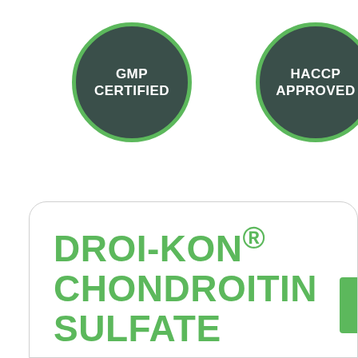[Figure (logo): GMP CERTIFIED badge — dark teal circle with green border]
[Figure (logo): HACCP APPROVED badge — dark teal circle with green border]
READ MORE >
DROI-KON® CHONDROITIN SULFATE